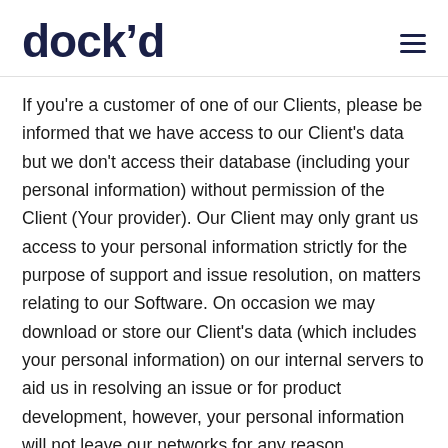dock'd
If you're a customer of one of our Clients, please be informed that we have access to our Client's data but we don't access their database (including your personal information) without permission of the Client (Your provider). Our Client may only grant us access to your personal information strictly for the purpose of support and issue resolution, on matters relating to our Software. On occasion we may download or store our Client's data (which includes your personal information) on our internal servers to aid us in resolving an issue or for product development, however, your personal information will not leave our networks for any reason whatsoever. Note: This only applies if our Client is hosting with us, if our Client (your provider) is hosting with a 3rd